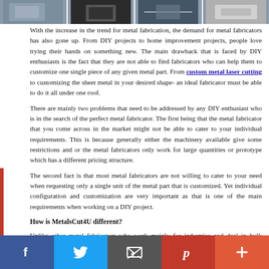[Figure (photo): Strip of four photos showing metal fabrication scenes]
With the increase in the trend for metal fabrication, the demand for metal fabricators has also gone up. From DIY projects to home improvement projects, people love trying their hands on something new. The main drawback that is faced by DIY enthusiasts is the fact that they are not able to find fabricators who can help them to customize one single piece of any given metal part. From custom metal laser cutting to customizing the sheet metal in your desired shape- an ideal fabricator must be able to do it all under one roof.
There are mainly two problems that need to be addressed by any DIY enthusiast who is in the search of the perfect metal fabricator. The first being that the metal fabricator that you come across in the market might not be able to cater to your individual requirements. This is because generally either the machinery available give some restrictions and or the metal fabricators only work for large quantities or prototype which has a different pricing structure.
The second fact is that most metal fabricators are not willing to cater to your need when requesting only a single unit of the metal part that is customized. Yet individual configuration and customization are very important as that is one of the main requirements when working on a DIY project.
How is MetalsCut4U different?
Unlike other metal fabricators who work mainly for industries and deal in bulk production, we have carved our business niche in catering to individual customer's